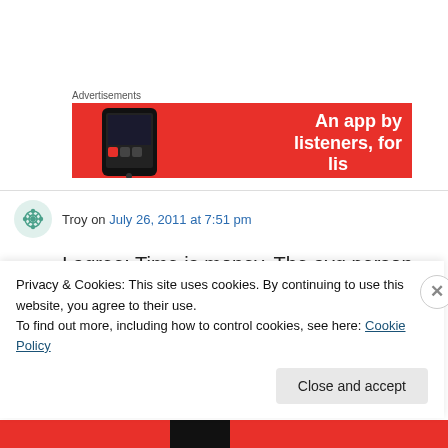Advertisements
[Figure (photo): Red advertisement banner for a podcast app with text 'An app by listeners, for lis...' and a smartphone on the left side]
Troy on July 26, 2011 at 7:51 pm
I agree: Time is money. The avg person isn't honestly going to spend time navigating
Privacy & Cookies: This site uses cookies. By continuing to use this website, you agree to their use.
To find out more, including how to control cookies, see here: Cookie Policy
Close and accept